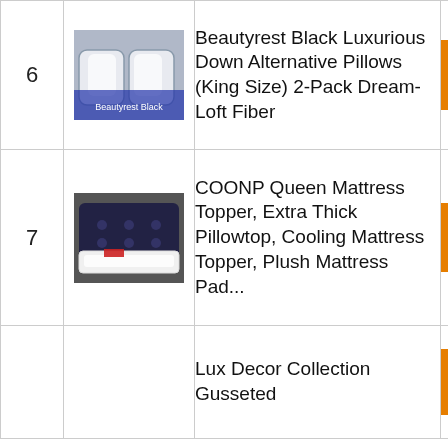| # | Image | Product | Link |
| --- | --- | --- | --- |
| 6 | [image] | Beautyrest Black Luxurious Down Alternative Pillows (King Size) 2-Pack Dream-Loft Fiber | Check on Amazon |
| 7 | [image] | COONP Queen Mattress Topper, Extra Thick Pillowtop, Cooling Mattress Topper, Plush Mattress Pad... | Check on Amazon |
|  | [image] | Lux Decor Collection Gusseted | Check on Amazon |